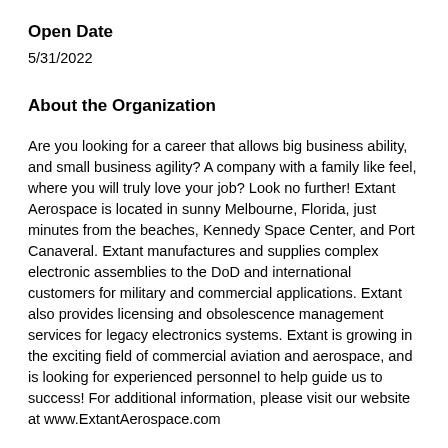Open Date
5/31/2022
About the Organization
Are you looking for a career that allows big business ability, and small business agility? A company with a family like feel, where you will truly love your job? Look no further! Extant Aerospace is located in sunny Melbourne, Florida, just minutes from the beaches, Kennedy Space Center, and Port Canaveral. Extant manufactures and supplies complex electronic assemblies to the DoD and international customers for military and commercial applications. Extant also provides licensing and obsolescence management services for legacy electronics systems. Extant is growing in the exciting field of commercial aviation and aerospace, and is looking for experienced personnel to help guide us to success! For additional information, please visit our website at www.ExtantAerospace.com
EOE Statement
We are an equal employment opportunity employer. All qualified applicants will receive consideration for employment without regard to race, color, religion, sex, national origin, disability status, protected veteran status, sexual orientation, gender identity or any